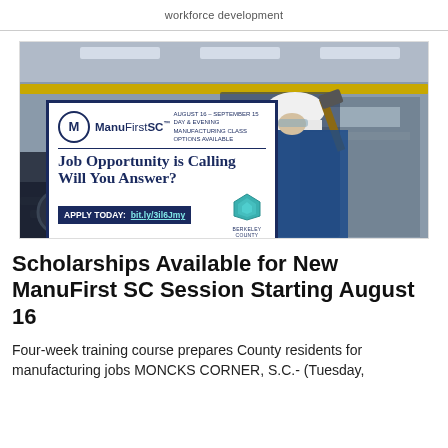workforce development
[Figure (photo): Industrial manufacturing facility background with a worker in a white hard hat and blue uniform, overlaid with ManuFirstSC advertisement box. Ad reads: 'AUGUST 16 – SEPTEMBER 15 DAY & EVENING MANUFACTURING CLASS OPTIONS AVAILABLE. ManuFirstSC. Job Opportunity is Calling Will You Answer? APPLY TODAY: bit.ly/3il6Jmy' with Berkeley County logo.]
Scholarships Available for New ManuFirst SC Session Starting August 16
Four-week training course prepares County residents for manufacturing jobs MONCKS CORNER, S.C.- (Tuesday,